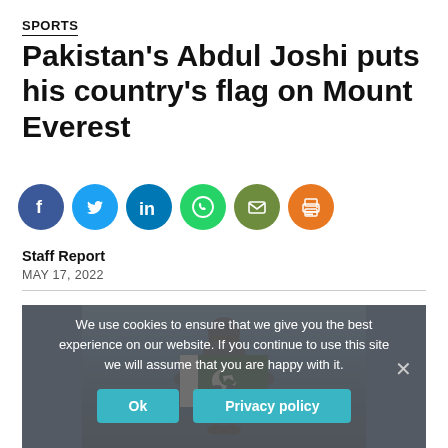SPORTS
Pakistan's Abdul Joshi puts his country's flag on Mount Everest
[Figure (infographic): Six social media sharing icons in circles: Facebook (blue), Twitter (blue), LinkedIn (blue), WhatsApp (green), Email (dark green/olive), Print (orange)]
Staff Report
MAY 17, 2022
[Figure (photo): A person in mountaineering gear holding the Pakistani flag against a blue background, standing at Mount Everest summit]
We use cookies to ensure that we give you the best experience on our website. If you continue to use this site we will assume that you are happy with it.